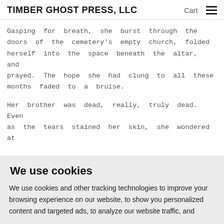TIMBER GHOST PRESS, LLC | Cart | ☰
Gasping for breath, she burst through the doors of the cemetery's empty church, folded herself into the space beneath the altar, and prayed. The hope she had clung to all these months faded to a bruise.
Her brother was dead, really, truly dead. Even as the tears stained her skin, she wondered at
We use cookies
We use cookies and other tracking technologies to improve your browsing experience on our website, to show you personalized content and targeted ads, to analyze our website traffic, and